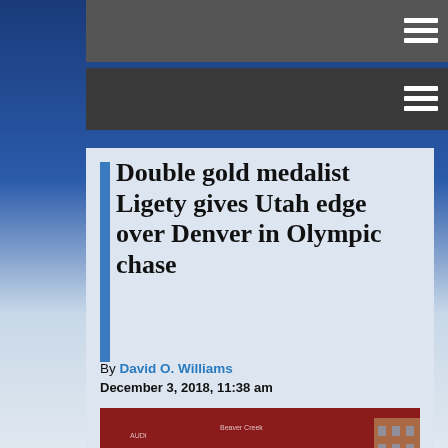Navigation menu bar (top)
Navigation menu bar (second)
Double gold medalist Ligety gives Utah edge over Denver in Olympic chase
By David O. Williams
December 3, 2018, 11:38 am
[Figure (photo): Three men seated at a press conference table with a red sponsor backdrop behind them including Audi and Beaver Creek logos.]